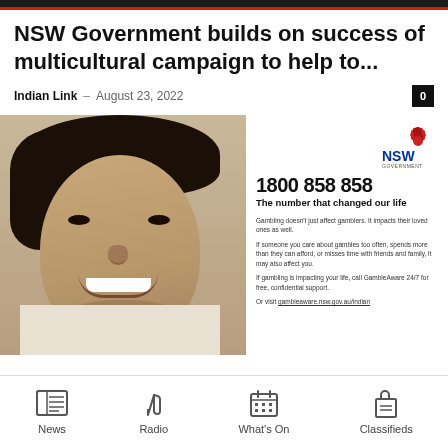NSW Government builds on success of multicultural campaign to help to...
Indian Link – August 23, 2022
[Figure (photo): Advertisement photo showing a smiling South Asian man on the left, with NSW Government GambleAware ad on the right showing the phone number 1800 858 858, tagline 'The number that changed our life', and small body text about gambling support.]
News | Radio | What's On | Classifieds